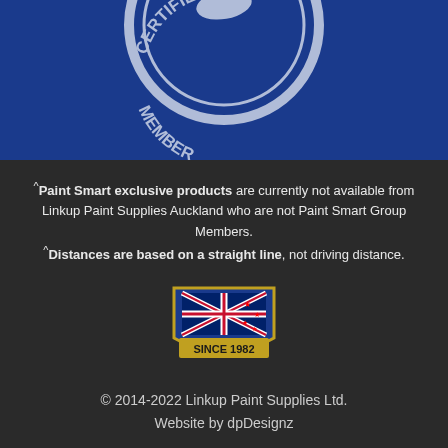[Figure (logo): Certified Member circular badge/seal with white graphics on blue background, partially visible (cropped at top)]
^Paint Smart exclusive products are currently not available from Linkup Paint Supplies Auckland who are not Paint Smart Group Members. ^Distances are based on a straight line, not driving distance.
[Figure (logo): New Zealand flag shield logo with 'SINCE 1982' text banner at bottom]
© 2014-2022 Linkup Paint Supplies Ltd.
Website by dpDesignz
Computer screens and printers vary in how colours are displayed, so the colours you see may not match the coating's actual colour.